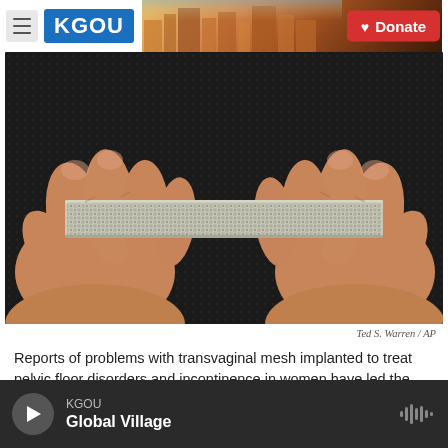KGOU | Donate
[Figure (photo): Close-up photograph of two hands holding a small strip of transvaginal surgical mesh material against a dark background, showing the woven texture of the mesh.]
Ted S. Warren / AP
Reports of problems with transvaginal mesh implanted to treat pelvic floor disorders and incontinence in women have led the Food and Drug Administration to scrutinize the product more carefully.
KGOU | Global Village